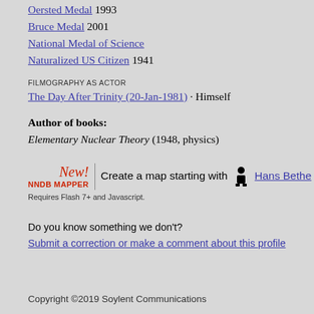Oersted Medal 1993
Bruce Medal 2001
National Medal of Science
Naturalized US Citizen 1941
FILMOGRAPHY AS ACTOR
The Day After Trinity (20-Jan-1981) · Himself
Author of books:
Elementary Nuclear Theory (1948, physics)
[Figure (infographic): NNDB Mapper promotional block: New! in red italic, NNDB MAPPER in red bold, vertical divider, text 'Create a map starting with [person icon] Hans Bethe']
Requires Flash 7+ and Javascript.
Do you know something we don't?
Submit a correction or make a comment about this profile
Copyright ©2019 Soylent Communications